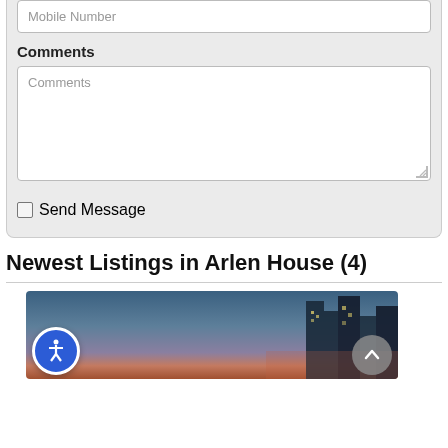Mobile Number
Comments
Comments
Send Message
Newest Listings in Arlen House (4)
[Figure (photo): Twilight cityscape showing a building silhouette against a gradient dusk sky with blue, pink, and orange tones.]